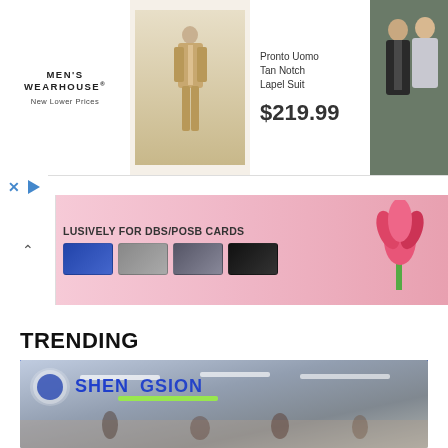[Figure (screenshot): Men's Wearhouse advertisement featuring Pronto Uomo Tan Notch Lapel Suit at $219.99 with man in suit and couple in wedding attire]
[Figure (screenshot): DBS/POSB cards advertisement banner with pink background, cards and tulip flower]
TRENDING
[Figure (photo): ShengSiong supermarket interior with blue logo signage and shoppers]